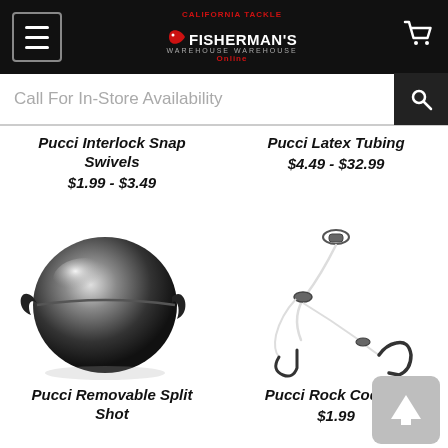Fisherman's Warehouse Online - Navigation header with menu, logo, cart
Call For In-Store Availability
Pucci Interlock Snap Swivels
$1.99 - $3.49
Pucci Latex Tubing
$4.49 - $32.99
[Figure (illustration): Black split shot fishing weight - spherical dark weight with ears/tabs]
[Figure (illustration): Pucci Rock Cod Rig - fishing rig with swivels, line, and hooks]
Pucci Removable Split Shot
Pucci Rock Cod Rig
$1.99